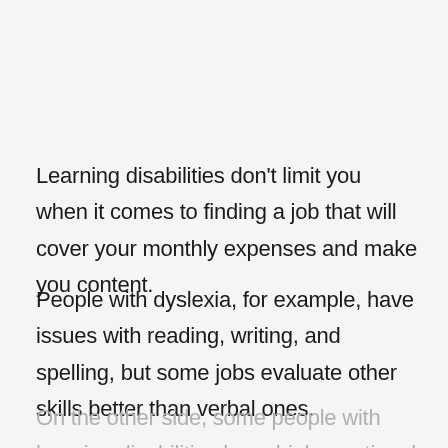Learning disabilities don't limit you when it comes to finding a job that will cover your monthly expenses and make you content.
People with dyslexia, for example, have issues with reading, writing, and spelling, but some jobs evaluate other skills better than verbal ones.
On the other side, some people with learning disabilities have high emotional intelligence, so